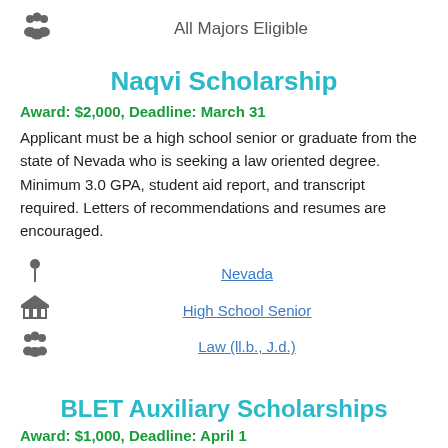All Majors Eligible
Naqvi Scholarship
Award: $2,000, Deadline: March 31
Applicant must be a high school senior or graduate from the state of Nevada who is seeking a law oriented degree. Minimum 3.0 GPA, student aid report, and transcript required. Letters of recommendations and resumes are encouraged.
Nevada
High School Senior
Law (ll.b., J.d.)
BLET Auxiliary Scholarships
Award: $1,000, Deadline: April 1